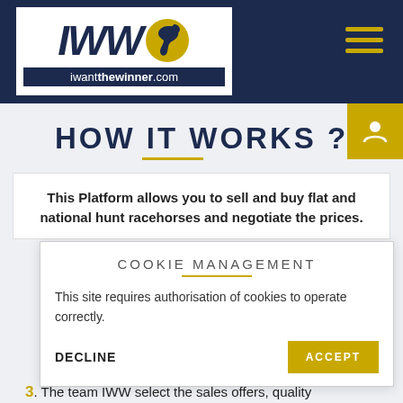[Figure (logo): IWW logo with horse icon and iwantthewinner.com URL on dark navy background header]
HOW IT WORKS ?
This Platform allows you to sell and buy flat and national hunt racehorses and negotiate the prices.
COOKIE MANAGEMENT
This site requires authorisation of cookies to operate correctly.
DECLINE   ACCEPT
3. The team IWW select the sales offers, quality